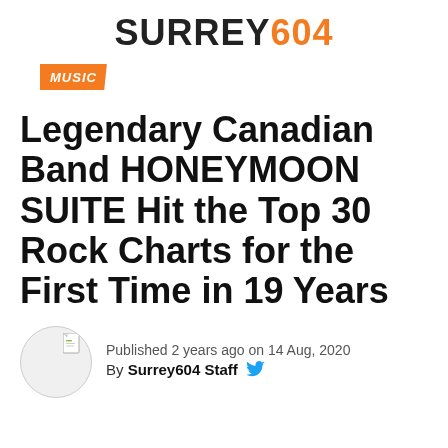SURREY604
MUSIC
Legendary Canadian Band HONEYMOON SUITE Hit the Top 30 Rock Charts for the First Time in 19 Years
Published 2 years ago on 14 Aug, 2020
By Surrey604 Staff